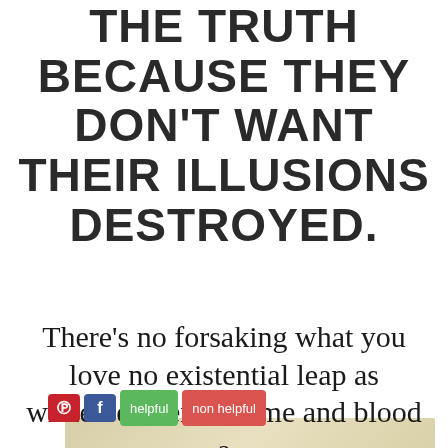THE TRUTH BECAUSE THEY DON'T WANT THEIR ILLUSIONS DESTROYED.
[Figure (infographic): Social sharing buttons: Pinterest (red), Facebook (blue), helpful (green), non helpful (red/orange)]
[Figure (infographic): Advertisement banner with beige/tan gradient background]
There's no forsaking what you love no existential leap as witnessed here in time and blood a